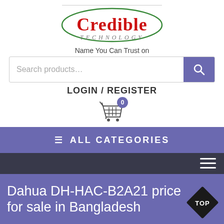[Figure (logo): Credible Technology logo with oval border, red bold 'Credible' text and grey italic 'TECHNOLOGY' text below]
Name You Can Trust on
Search products…
LOGIN / REGISTER
[Figure (other): Shopping cart icon with badge showing 0]
ALL CATEGORIES
Dahua DH-HAC-B2A21 price for sale in Bangladesh